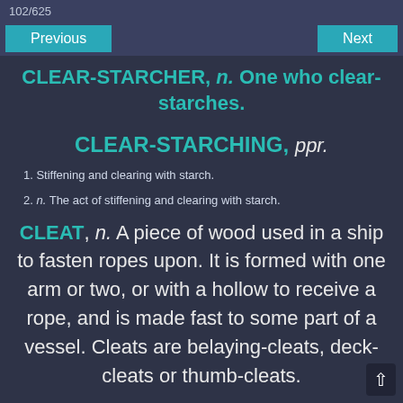102/625
Previous | Next
CLEAR-STARCHER, n. One who clear-starches.
CLEAR-STARCHING, ppr.
1. Stiffening and clearing with starch.
2. n. The act of stiffening and clearing with starch.
CLEAT, n. A piece of wood used in a ship to fasten ropes upon. It is formed with one arm or two, or with a hollow to receive a rope, and is made fast to some part of a vessel. Cleats are belaying-cleats, deck-cleats or thumb-cleats.